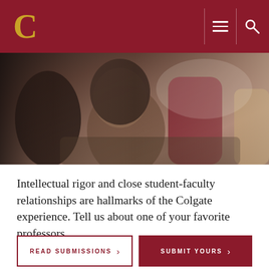C (Colgate University logo) — navigation header with menu and search icons
[Figure (photo): Students seated together in a casual indoor setting; a young woman with curly hair in the foreground holds a cup]
Intellectual rigor and close student-faculty relationships are hallmarks of the Colgate experience. Tell us about one of your favorite professors.
READ SUBMISSIONS >
SUBMIT YOURS >
[Figure (illustration): Gold decorative bar and opening quotation marks in gold color on a light beige background]